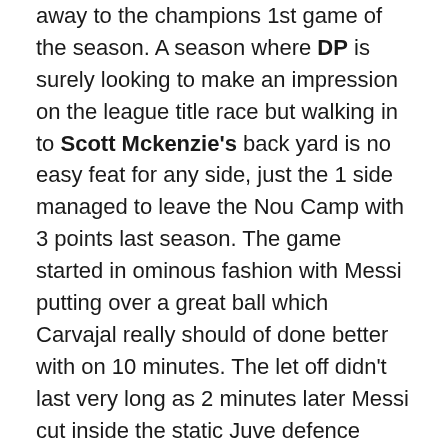away to the champions 1st game of the season. A season where DP is surely looking to make an impression on the league title race but walking in to Scott Mckenzie's back yard is no easy feat for any side, just the 1 side managed to leave the Nou Camp with 3 points last season. The game started in ominous fashion with Messi putting over a great ball which Carvajal really should of done better with on 10 minutes. The let off didn't last very long as 2 minutes later Messi cut inside the static Juve defence beating 2 men with a drop of that magical left shoulder and played a defence splitting ball to Neymar who drew Schmeichal off his line before dinking the ball over the stranded keeper, 1-0 Barca. Juventus responded well with chances for Mane and Jesus which De Gea was equal to. Messi also had a chance to extend Barcelona's lead but Schmeichal saved well. The rest of the 1st half played out with both sides cancelling each other out but the game